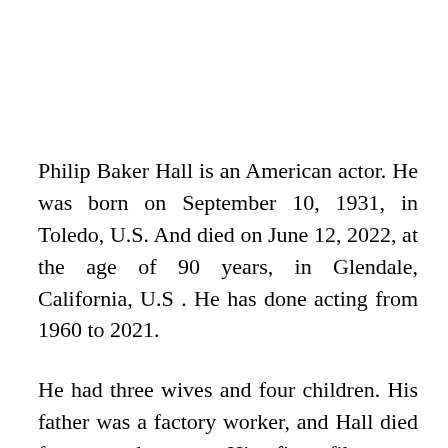Philip Baker Hall is an American actor. He was born on September 10, 1931, in Toledo, U.S. And died on June 12, 2022, at the age of 90 years, in Glendale, California, U.S . He has done acting from 1960 to 2021.
He had three wives and four children. His father was a factory worker, and Hall died from emphysema. His first film was Cowards, after which he joined the Los Angeles theater. His first television role was an episode of Good times. He